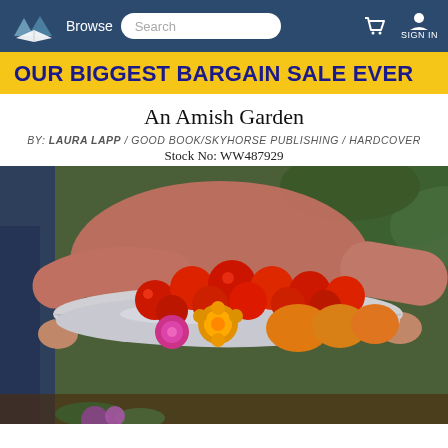Browse | Search | SIGN IN
OUR BIGGEST BARGAIN SALE EVER
An Amish Garden
BY: LAURA LAPP / GOOD BOOK/SKYHORSE PUBLISHING / HARDCOVER
Stock No: WW487929
[Figure (photo): Book cover for 'An Amish Garden' showing a person holding a metal bowl filled with tomatoes, marigolds, and other garden produce. The right side shows the book cover with title 'AN AMISH GARDEN - A Year in the Life of an Amish Garden' alongside smaller photos of Amish garden scenes.]